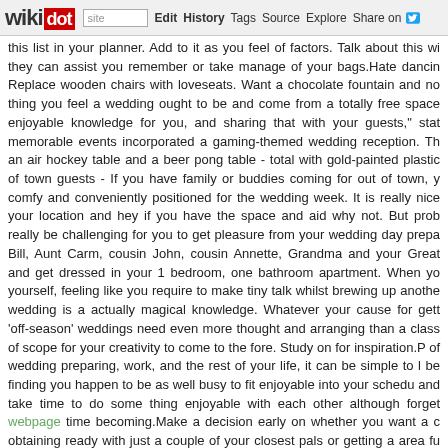wikidot | site | Edit | History | Tags | Source | Explore | Share on [Twitter]
this list in your planner. Add to it as you feel of factors. Talk about this wi they can assist you remember or take manage of your bags.Hate dancin Replace wooden chairs with loveseats. Want a chocolate fountain and no thing you feel a wedding ought to be and come from a totally free space enjoyable knowledge for you, and sharing that with your guests," stat memorable events incorporated a gaming-themed wedding reception. Th an air hockey table and a beer pong table - total with gold-painted plastic of town guests - If you have family or buddies coming for out of town, y comfy and conveniently positioned for the wedding week. It is really nice your location and hey if you have the space and aid why not. But prob really be challenging for you to get pleasure from your wedding day prepa Bill, Aunt Carm, cousin John, cousin Annette, Grandma and your Great and get dressed in your 1 bedroom, one bathroom apartment. When yo yourself, feeling like you require to make tiny talk whilst brewing up anothe wedding is a actually magical knowledge. Whatever your cause for gett 'off-season' weddings need even more thought and arranging than a class of scope for your creativity to come to the fore. Study on for inspiration.P of wedding preparing, work, and the rest of your life, it can be simple to l be finding you happen to be as well busy to fit enjoyable into your schedu and take time to do some thing enjoyable with each other although forget webpage time becoming.Make a decision early on whether you want a c obtaining ready with just a couple of your closest pals or getting a area fu very different energy and environment. And it's crucial to know ahead individual needs will mix with every single predicament.Introduce your V essential members of each families ahead of the wedding and ask tha photographer on the day. They can then support round up the relevant pe Make a list of contact names and numbers for all your suppliers. Give a c your venue's Wedding Co-ordinator. They can then chase up any late del